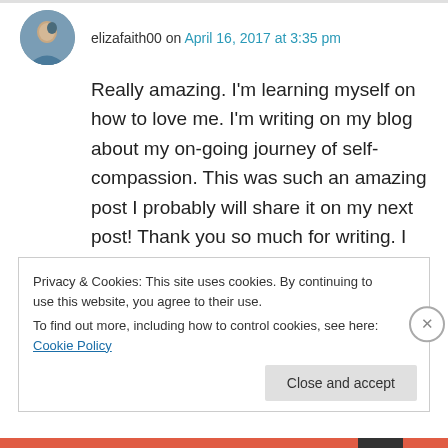elizafaith00 on April 16, 2017 at 3:35 pm
Really amazing. I'm learning myself on how to love me. I'm writing on my blog about my on-going journey of self-compassion. This was such an amazing post I probably will share it on my next post! Thank you so much for writing. I enjoyed it a lot.
★ Liked by 1 person
Privacy & Cookies: This site uses cookies. By continuing to use this website, you agree to their use. To find out more, including how to control cookies, see here: Cookie Policy
Close and accept